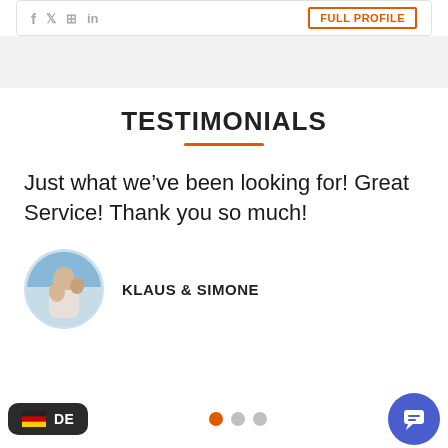[Figure (screenshot): Social media icons (f, bird/twitter, instagram, linkedin) on the left and an orange-outlined FULL PROFILE button on the right inside a white card]
TESTIMONIALS
Just what we’ve been looking for! Great Service! Thank you so much!
[Figure (photo): Circular avatar photo of a man hugging someone outdoors]
KLAUS & SIMONE
[Figure (infographic): Three pagination dots: first orange (active), second and third gray]
[Figure (infographic): Dark rounded badge showing German flag emoji and 'DE' text]
[Figure (infographic): Blue circular chat/message button in bottom right corner]